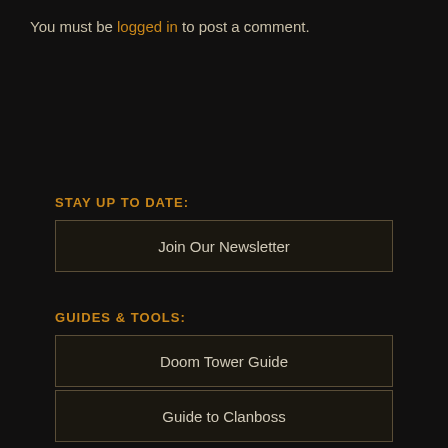You must be logged in to post a comment.
STAY UP TO DATE:
Join Our Newsletter
GUIDES & TOOLS:
Doom Tower Guide
Guide to Clanboss